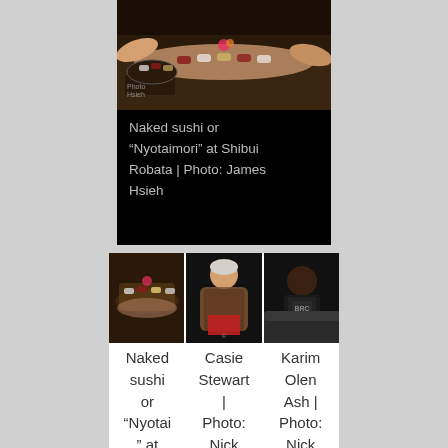[Figure (photo): Photo of naked sushi or Nyotaimori at Shibui Robata restaurant, showing someone lying down with sushi arranged on them, with people reaching in from sides. Photo credit: James Hsieh.]
Naked sushi or “Nyotaimori” at Shibui Robata | Photo: James Hsieh
[Figure (photo): Three thumbnail photos side by side: (1) naked sushi display, (2) Casie Stewart, (3) Karim Olen Ash]
Naked sushi or “Nyotai” at | Photo: Nick
Casie Stewart | Photo: Nick
Karim Olen Ash | Photo: Nick